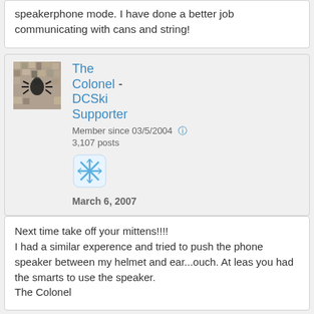speakerphone mode. I have done a better job communicating with cans and string!
The Colonel - DCSki Supporter
Member since 03/5/2004
3,107 posts
March 6, 2007
Next time take off your mittens!!!!
I had a similar experence and tried to push the phone speaker between my helmet and ear...ouch. At leas you had the smarts to use the speaker.
The Colonel